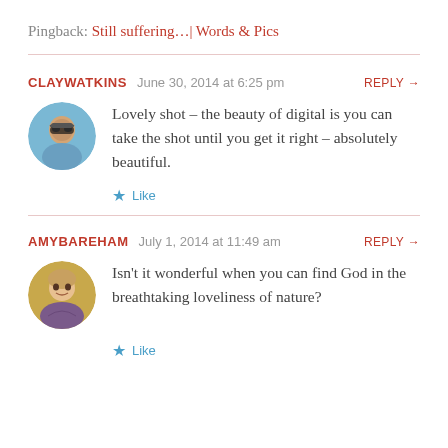Pingback: Still suffering… | Words & Pics
CLAYWATKINS   June 30, 2014 at 6:25 pm   REPLY →
Lovely shot – the beauty of digital is you can take the shot until you get it right – absolutely beautiful.
★ Like
AMYBAREHAM   July 1, 2014 at 11:49 am   REPLY →
Isn't it wonderful when you can find God in the breathtaking loveliness of nature?
★ Like